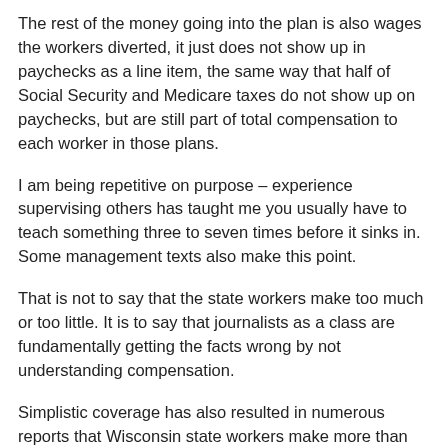The rest of the money going into the plan is also wages the workers diverted, it just does not show up in paychecks as a line item, the same way that half of Social Security and Medicare taxes do not show up on paychecks, but are still part of total compensation to each worker in those plans.
I am being repetitive on purpose – experience supervising others has taught me you usually have to teach something three to seven times before it sinks in. Some management texts also make this point.
That is not to say that the state workers make too much or too little. It is to say that journalists as a class are fundamentally getting the facts wrong by not understanding compensation.
Simplistic coverage has also resulted in numerous reports that Wisconsin state workers make more than workers in Wisconsin' s private business sector. This is true only if you compare walnuts to tuna fish.